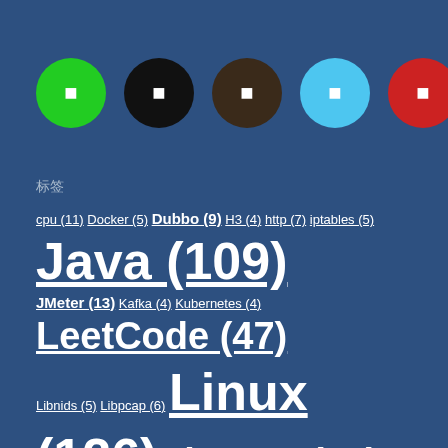[Figure (infographic): Six colored circles with icons: green, black, dark brown, light blue, red, brown]
标签
cpu (11) Docker (5) Dubbo (9) H3 (4) http (7) iptables (5) Java (109) JMeter (13) Kafka (4) Kubernetes (4) LeetCode (47) Libnids (5) Libpcap (6) Linux (126) Linux C (85) Mongodb (11) mysql (13) Neutron (14) Nova (9) OpenStack (79) performance (14) Perl (14) php (6) Python (62) Redis (15) Shell (10) Spring (37) SpringBoot (6) Tempest (11) vim (8) VMware (7) web (10) WordPress (9) YouCompleteMe (5) (24) (74)